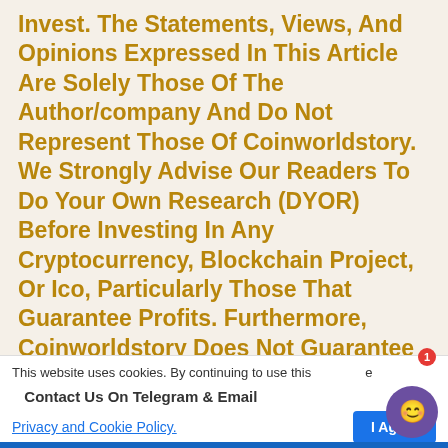Invest. The Statements, Views, And Opinions Expressed In This Article Are Solely Those Of The Author/company And Do Not Represent Those Of Coinworldstory. We Strongly Advise Our Readers To Do Your Own Research (DYOR) Before Investing In Any Cryptocurrency, Blockchain Project, Or Ico, Particularly Those That Guarantee Profits. Furthermore, Coinworldstory Does Not Guarantee Or Imply That The Cryptocurrencies Or Projects Published Are Legal In Any Specific Reader's Location. It Is The Reader's Responsibility To Know The Laws Regarding Cryptocurrencies And Icos In His Or Her Country. Please Respect Your Country Law &
This website uses cookies. By continuing to use this site, you agree to our
Contact Us On Telegram & Email
Privacy and Cookie Policy.
I Agree